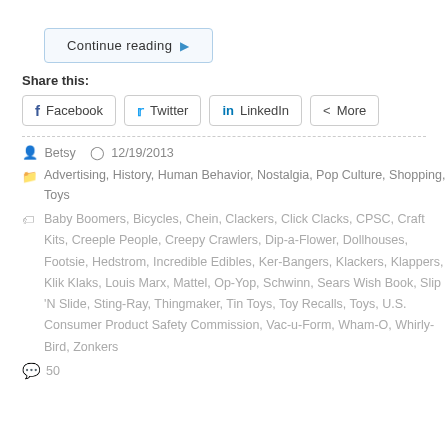Continue reading ▶
Share this:
Facebook  Twitter  LinkedIn  More
Betsy  12/19/2013
Advertising, History, Human Behavior, Nostalgia, Pop Culture, Shopping, Toys
Baby Boomers, Bicycles, Chein, Clackers, Click Clacks, CPSC, Craft Kits, Creeple People, Creepy Crawlers, Dip-a-Flower, Dollhouses, Footsie, Hedstrom, Incredible Edibles, Ker-Bangers, Klackers, Klappers, Klik Klaks, Louis Marx, Mattel, Op-Yop, Schwinn, Sears Wish Book, Slip 'N Slide, Sting-Ray, Thingmaker, Tin Toys, Toy Recalls, Toys, U.S. Consumer Product Safety Commission, Vac-u-Form, Wham-O, Whirly-Bird, Zonkers
50